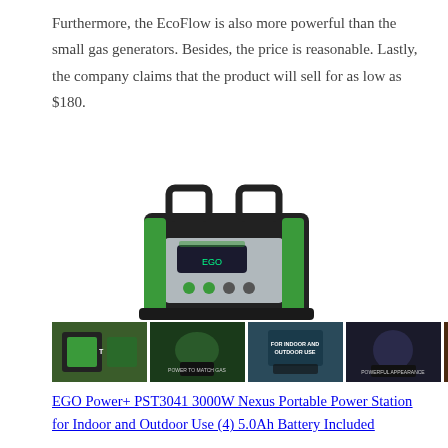Furthermore, the EcoFlow is also more powerful than the small gas generators. Besides, the price is reasonable. Lastly, the company claims that the product will sell for as low as $180.
[Figure (photo): EGO Power+ PST3041 portable power station — a black and green battery-powered generator unit with dual handles on top]
[Figure (photo): Five small thumbnail images of the EGO power station showing various use cases: product image, power match gas, indoor and outdoor use, powerful appearance, weather resistant]
EGO Power+ PST3041 3000W Nexus Portable Power Station for Indoor and Outdoor Use (4) 5.0Ah Battery Included